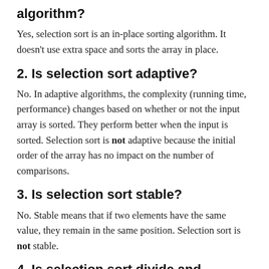algorithm?
Yes, selection sort is an in-place sorting algorithm. It doesn't use extra space and sorts the array in place.
2. Is selection sort adaptive?
No. In adaptive algorithms, the complexity (running time, performance) changes based on whether or not the input array is sorted. They perform better when the input is sorted. Selection sort is not adaptive because the initial order of the array has no impact on the number of comparisons.
3. Is selection sort stable?
No. Stable means that if two elements have the same value, they remain in the same position. Selection sort is not stable.
4. Is selection sort divide and